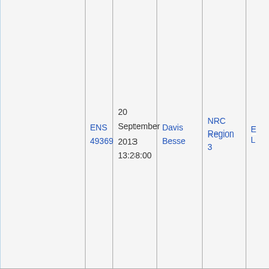|  | ENS 49369 | 20 September 2013 13:28:00 | Davis Besse | NRC Region 3 | E... |